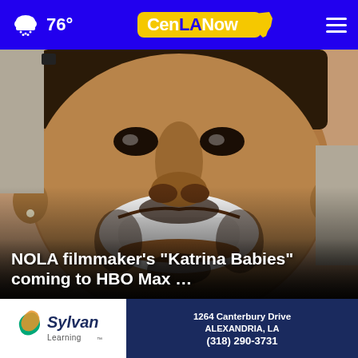76° CenLANow
[Figure (photo): Close-up photo of a smiling Black man with a goatee and diamond stud earring, light gray background]
NOLA filmmaker's “Katrina Babies” coming to HBO Max …
[Figure (screenshot): Left video thumbnail showing a street scene with orange mascot and TRAFFIC STOPS WITH EASE overlay]
[Figure (screenshot): Right video thumbnail showing colorful mural-like background with chess players]
[Figure (other): Sylvan Learning advertisement banner: 1264 Canterbury Drive, Alexandria, LA, (318) 290-3731]